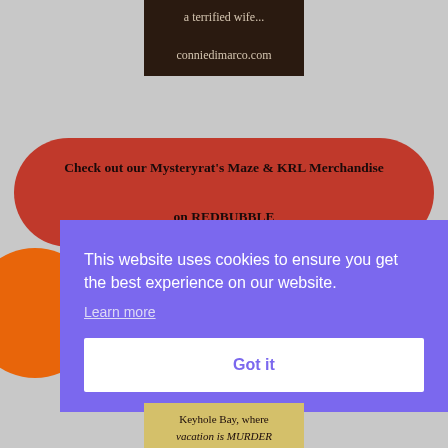[Figure (screenshot): Dark brown banner with text 'a terrified wife...' and 'conniedimarco.com' in light colored serif font]
Check out our Mysteryrat's Maze & KRL Merchandise

on REDBUBBLE
Fr
[Figure (screenshot): Cookie consent overlay with purple background saying 'This website uses cookies to ensure you get the best experience on our website.' with 'Learn more' link and 'Got it' button]
[Figure (screenshot): Bottom partial image with yellow-tan background showing text 'Keyhole Bay, where vacation is MURDER']